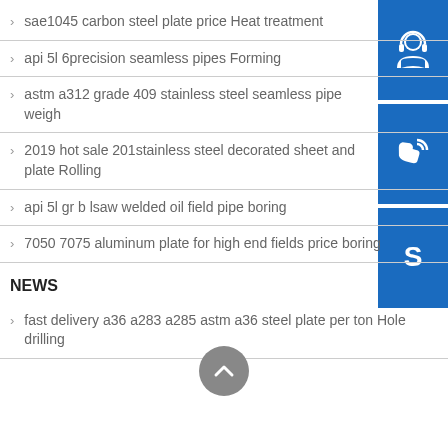sae1045 carbon steel plate price Heat treatment
api 5l 6precision seamless pipes Forming
astm a312 grade 409 stainless steel seamless pipe weigh
2019 hot sale 201stainless steel decorated sheet and plate Rolling
api 5l gr b lsaw welded oil field pipe boring
7050 7075 aluminum plate for high end fields price boring
NEWS
fast delivery a36 a283 a285 astm a36 steel plate per ton Hole drilling
construction 304 304l 430 316l stainless steel sheet and plate Rolling